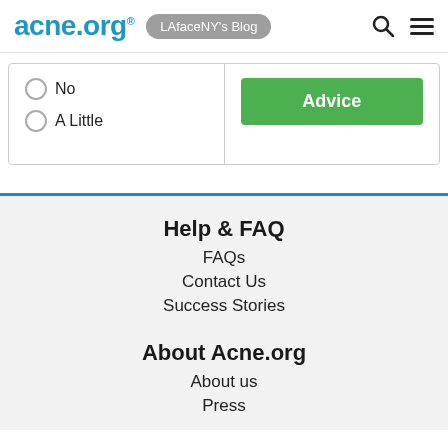acne.org® LAfaceNY's Blog
No
A Little
Advice
Help & FAQ
FAQs
Contact Us
Success Stories
About Acne.org
About us
Press